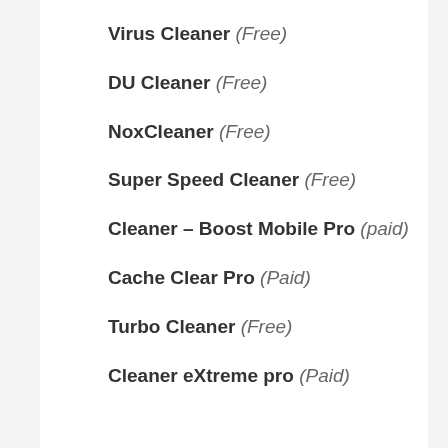Virus Cleaner (Free)
DU Cleaner (Free)
NoxCleaner (Free)
Super Speed Cleaner (Free)
Cleaner – Boost Mobile Pro (paid)
Cache Clear Pro (Paid)
Turbo Cleaner (Free)
Cleaner eXtreme pro (Paid)